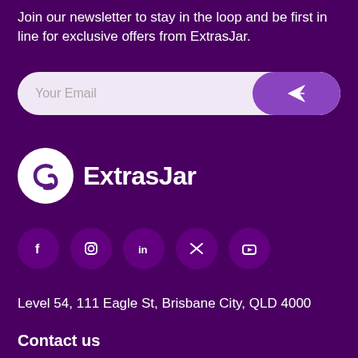Join our newsletter to stay in the loop and be first in line for exclusive offers from ExtrasJar.
[Figure (other): Email newsletter signup input bar with placeholder 'Your Email' and a purple send button with paper plane icon]
[Figure (logo): ExtrasJar logo: white circle with stylized 'e' arrow icon and text 'ExtrasJar' in white]
[Figure (other): Social media icon buttons for Facebook, Instagram, LinkedIn, Twitter/X, and YouTube on dark purple circular backgrounds]
Level 54, 111 Eagle St, Brisbane City, QLD 4000
Contact us